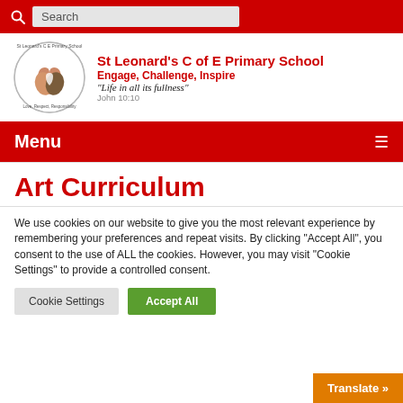Search
[Figure (logo): St Leonard's C of E Primary School circular logo with hands forming a heart]
St Leonard's C of E Primary School
Engage, Challenge, Inspire
"Life in all its fullness"
John 10:10
Menu
Art Curriculum
We use cookies on our website to give you the most relevant experience by remembering your preferences and repeat visits. By clicking "Accept All", you consent to the use of ALL the cookies. However, you may visit "Cookie Settings" to provide a controlled consent.
Cookie Settings   Accept All
Translate »